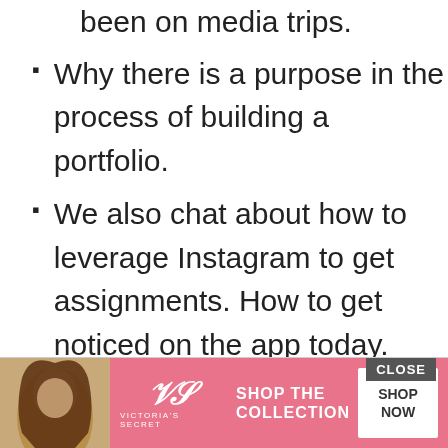been on media trips.
Why there is a purpose in the process of building a portfolio.
We also chat about how to leverage Instagram to get assignments. How to get noticed on the app today.
How to become a [part] of
[Figure (photo): Victoria's Secret advertisement banner with model photo, VS logo, 'SHOP THE COLLECTION' text, and 'SHOP NOW' button]